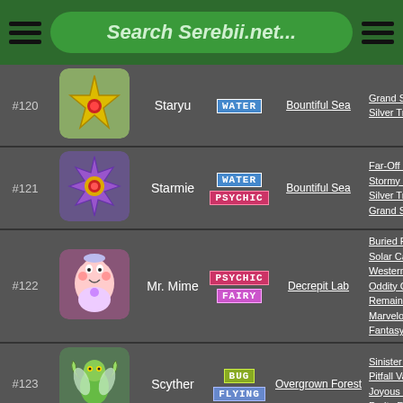Search Serebii.net...
| # | Image | Name | Type | Location | Locations |
| --- | --- | --- | --- | --- | --- |
| #120 | [Staryu] | Staryu | WATER | Bountiful Sea | Grand Sea / Silver Trench |
| #121 | [Starmie] | Starmie | WATER / PSYCHIC | Bountiful Sea | Far-Off Sea / Stormy Sea / Silver Trench / Grand Sea - Strong F |
| #122 | [Mr. Mime] | Mr. Mime | PSYCHIC / FAIRY | Decrepit Lab | Buried Relic / Solar Cave / Western Cave / Oddity Cave / Remains Island / Marvelous Sea / Fantasy Strait |
| #123 | [Scyther] | Scyther | BUG / FLYING | Overgrown Forest | Sinister Woods / Pitfall Valley / Joyous Tower / Purity Forest |
| #124 | [Jynx] | Jynx | ICE / PSYCHIC | Frigid Cavern | Solar Cave / Northwind Field / Western Cave |
| #125 | [Electabuzz] | Electabuzz | ELECTRIC | Power Plant | Mt. Thunder / Wish Cave / Purity Forest / Remains Island |